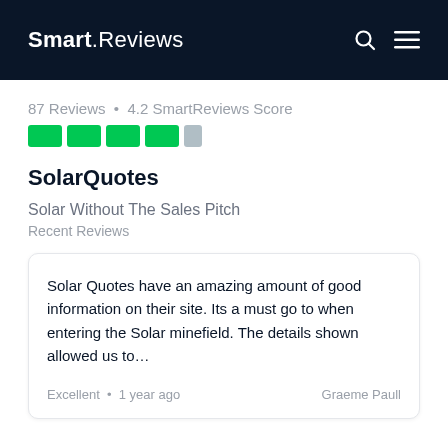Smart.Reviews
87 Reviews • 4.2 SmartReviews Score
SolarQuotes
Solar Without The Sales Pitch
Recent Reviews
Solar Quotes have an amazing amount of good information on their site. Its a must go to when entering the Solar minefield. The details shown allowed us to…
Excellent • 1 year ago
Graeme Paull